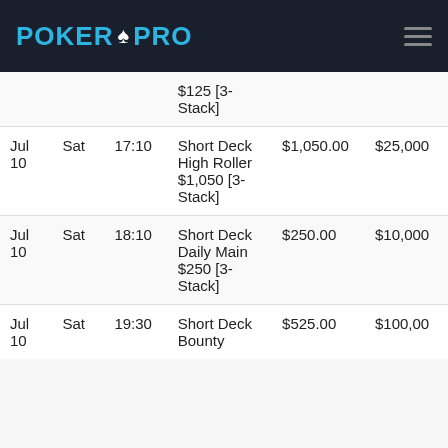POKER PRO
| Date | Day | Time | Name | Buy-in | Prize |
| --- | --- | --- | --- | --- | --- |
|  |  |  | $125 [3-Stack] |  |  |
| Jul 10 | Sat | 17:10 | Short Deck High Roller $1,050 [3-Stack] | $1,050.00 | $25,000 |
| Jul 10 | Sat | 18:10 | Short Deck Daily Main $250 [3-Stack] | $250.00 | $10,000 |
| Jul 10 | Sat | 19:30 | Short Deck Bounty | $525.00 | $100,00 |